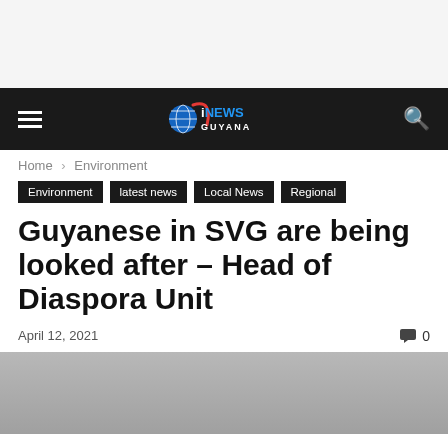iNEWS GUYANA
Home › Environment
Environment
latest news
Local News
Regional
Guyanese in SVG are being looked after – Head of Diaspora Unit
April 12, 2021
0
[Figure (photo): Gray photograph, partially visible at bottom of page]